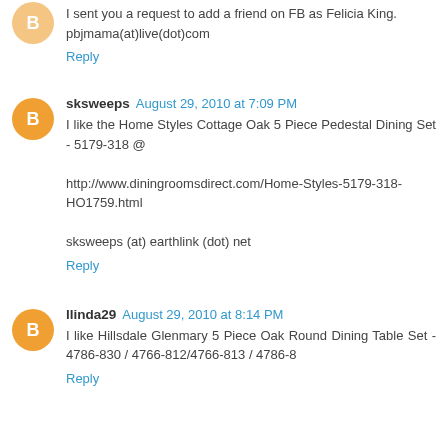I sent you a request to add a friend on FB as Felicia King. pbjmama(at)live(dot)com
Reply
sksweeps August 29, 2010 at 7:09 PM
I like the Home Styles Cottage Oak 5 Piece Pedestal Dining Set - 5179-318 @

http://www.diningroomsdirect.com/Home-Styles-5179-318-HO1759.html

sksweeps (at) earthlink (dot) net
Reply
llinda29 August 29, 2010 at 8:14 PM
I like Hillsdale Glenmary 5 Piece Oak Round Dining Table Set - 4786-830 / 4766-812/4766-813 / 4786-8
Reply